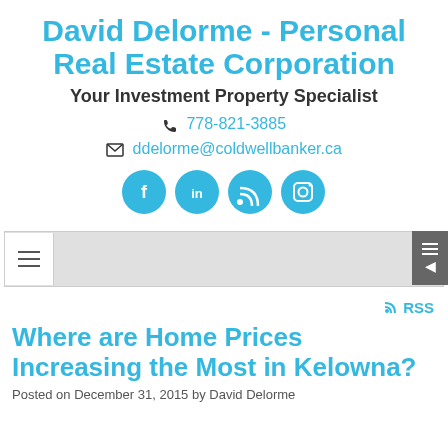David Delorme - Personal Real Estate Corporation
Your Investment Property Specialist
778-821-3885
ddelorme@coldwellbanker.ca
[Figure (other): Social media icon buttons: Facebook, LinkedIn, RSS, Instagram — circular blue icons]
[Figure (other): Navigation bar with hamburger menu icon and sidebar toggle button on the right]
RSS
Where are Home Prices Increasing the Most in Kelowna?
Posted on December 31, 2015 by David Delorme